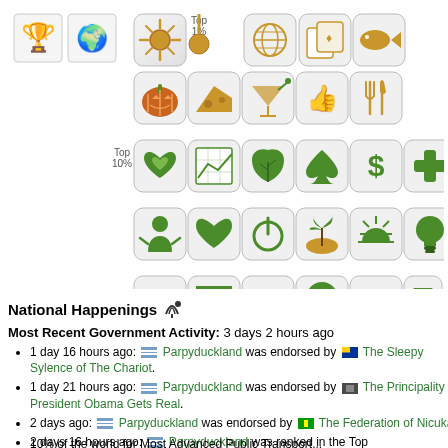[Figure (infographic): Grid of category/achievement icons for a NationStates nation profile, including trophy, globe, seasonal, food, health, environment, economy, transport icons with Top 1%, Top 5%, Top 10% labels]
National Happenings
Most Recent Government Activity: 3 days 2 hours ago
1 day 16 hours ago: Parpyduckland was endorsed by The Sleepy Sylence of The Chariot.
1 day 21 hours ago: Parpyduckland was endorsed by The Principality of President Obama Gets Real.
2 days ago: Parpyduckland was endorsed by The Federation of Nicuka.
2 days 16 hours ago: Parpyduckland was ranked in the Top 10% of the world for Most Advanced Public Transport...